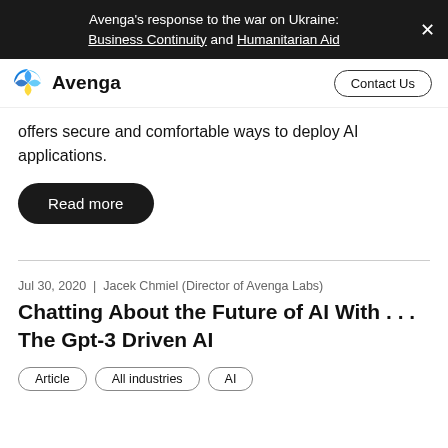Avenga's response to the war on Ukraine: Business Continuity and Humanitarian Aid
Avenga | Contact Us
offers secure and comfortable ways to deploy AI applications.
Read more
Jul 30, 2020 | Jacek Chmiel (Director of Avenga Labs)
Chatting About the Future of AI With . . . The Gpt-3 Driven AI
Article
All industries
AI